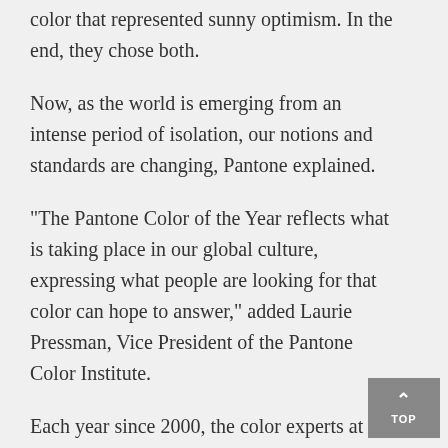color that represented sunny optimism. In the end, they chose both.
Now, as the world is emerging from an intense period of isolation, our notions and standards are changing, Pantone explained.
"The Pantone Color of the Year reflects what is taking place in our global culture, expressing what people are looking for that color can hope to answer," added Laurie Pressman, Vice President of the Pantone Color Institute.
Each year since 2000, the color experts at Pantone have picked a color that reflects the current cultural climate. Typically, Pantone's